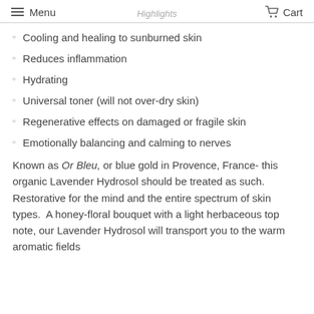Menu   Cart
Highlights
Cooling and healing to sunburned skin
Reduces inflammation
Hydrating
Universal toner (will not over-dry skin)
Regenerative effects on damaged or fragile skin
Emotionally balancing and calming to nerves
Known as Or Bleu, or blue gold in Provence, France- this organic Lavender Hydrosol should be treated as such. Restorative for the mind and the entire spectrum of skin types.  A honey-floral bouquet with a light herbaceous top note, our Lavender Hydrosol will transport you to the warm aromatic fields